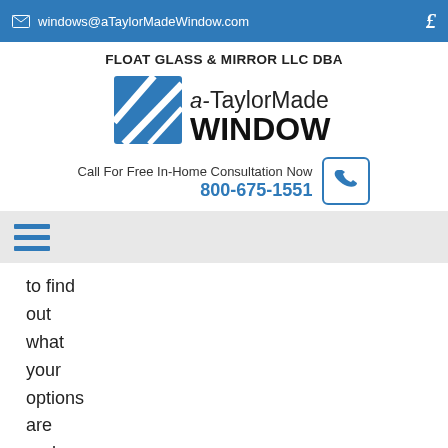windows@aTaylorMadeWindow.com
FLOAT GLASS & MIRROR LLC DBA
[Figure (logo): a-TaylorMade WINDOW company logo with blue diagonal stripe graphic]
Call For Free In-Home Consultation Now
800-675-1551
[Figure (other): Hamburger menu icon with three blue horizontal bars]
to find out what your options are and the rates will be. This